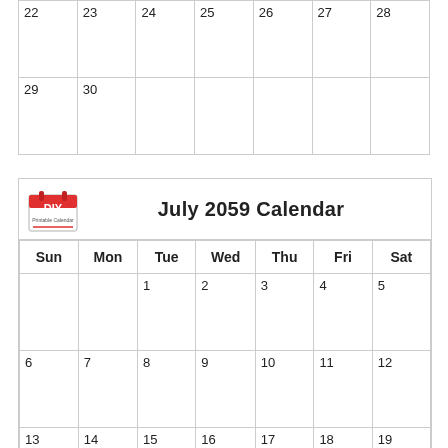| Sun | Mon | Tue | Wed | Thu | Fri | Sat |
| --- | --- | --- | --- | --- | --- | --- |
| 22 | 23 | 24 | 25 | 26 | 27 | 28 |
| 29 | 30 |  |  |  |  |  |
July 2059 Calendar
| Sun | Mon | Tue | Wed | Thu | Fri | Sat |
| --- | --- | --- | --- | --- | --- | --- |
|  |  | 1 | 2 | 3 | 4 | 5 |
| 6 | 7 | 8 | 9 | 10 | 11 | 12 |
| 13 | 14 | 15 | 16 | 17 | 18 | 19 |